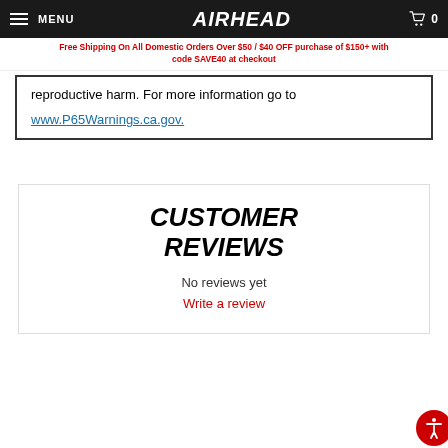MENU | AIRHEAD | 0
Free Shipping On All Domestic Orders Over $50 / $40 OFF purchase of $150+ with code SAVE40 at checkout
reproductive harm. For more information go to www.P65Warnings.ca.gov.
CUSTOMER REVIEWS
No reviews yet
Write a review